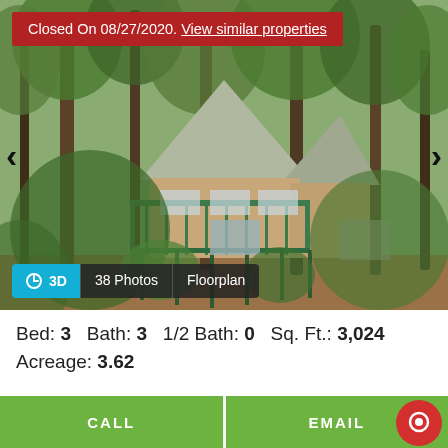[Figure (photo): Exterior photo of a wooden A-frame cabin/chalet surrounded by trees, with green deck railings and large windows, set on a wooded hillside. A red 'Closed' banner overlays the top of the image.]
Closed On 08/27/2020. View similar properties
3D   38 Photos   Floorplan
Bed: 3   Bath: 3   1/2 Bath: 0   Sq. Ft.: 3,024
Acreage: 3.62
CALL
EMAIL